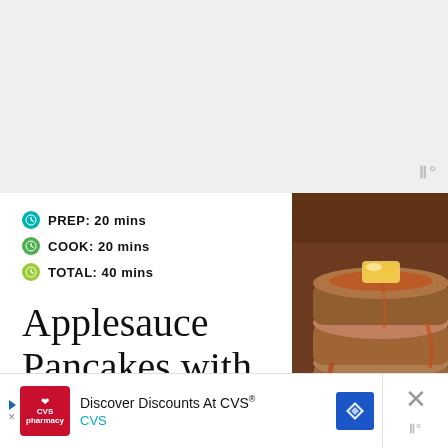[Figure (other): Light gray top area background with watermark logo in bottom right corner]
PREP: 20 mins
COOK: 20 mins
TOTAL: 40 mins
Applesauce Pancakes with
[Figure (photo): Stack of pancakes with butter on top drizzled with maple syrup on a green plate]
Discover Discounts At CVS® CVS